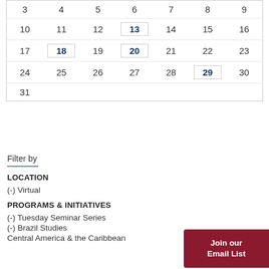| Sun | Mon | Tue | Wed | Thu | Fri | Sat |
| --- | --- | --- | --- | --- | --- | --- |
| 3 | 4 | 5 | 6 | 7 | 8 | 9 |
| 10 | 11 | 12 | 13 | 14 | 15 | 16 |
| 17 | 18 | 19 | 20 | 21 | 22 | 23 |
| 24 | 25 | 26 | 27 | 28 | 29 | 30 |
| 31 |  |  |  |  |  |  |
Filter by
LOCATION
(-) Virtual
PROGRAMS & INITIATIVES
(-) Tuesday Seminar Series
(-) Brazil Studies
Central America & the Caribbean
Join our Email List